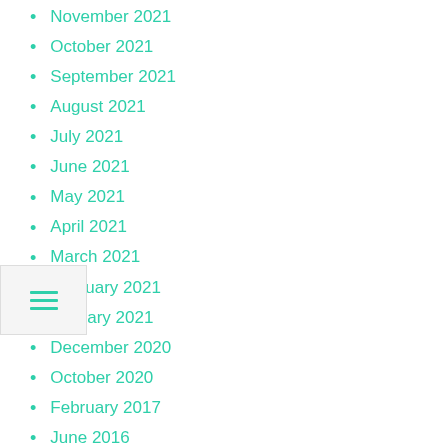November 2021
October 2021
September 2021
August 2021
July 2021
June 2021
May 2021
April 2021
March 2021
February 2021
January 2021
December 2020
October 2020
February 2017
June 2016
March 2016
January 2011